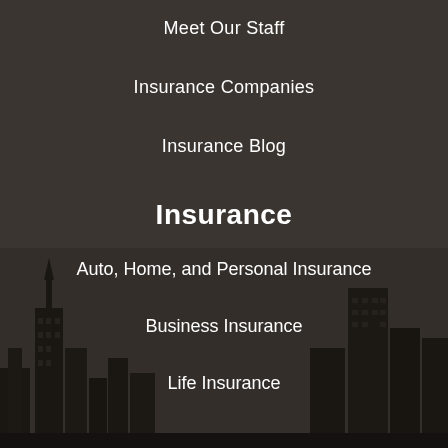[Figure (illustration): Dark cityscape silhouette background with tall buildings against a dark brownish-gray sky]
Meet Our Staff
Insurance Companies
Insurance Blog
Insurance
Auto, Home, and Personal Insurance
Business Insurance
Life Insurance